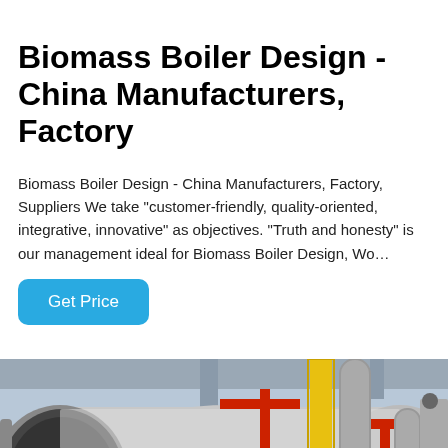Biomass Boiler Design - China Manufacturers, Factory
Biomass Boiler Design - China Manufacturers, Factory, Suppliers We take "customer-friendly, quality-oriented, integrative, innovative" as objectives. "Truth and honesty" is our management ideal for Biomass Boiler Design, Wo…
[Figure (other): Blue 'Get Price' button]
[Figure (photo): Industrial biomass boiler installation in a factory, showing large cylindrical horizontal boiler tank, red burner on the left, yellow and red pipes, gray metallic pipes and valves, industrial ceiling visible in the background.]